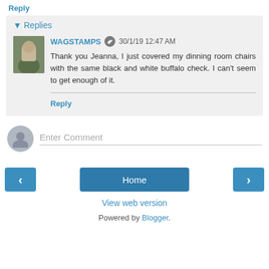Reply
▾ Replies
WAGSTAMPS  30/1/19 12:47 AM
Thank you Jeanna, I just covered my dinning room chairs with the same black and white buffalo check. I can't seem to get enough of it.
Reply
Enter Comment
Home
View web version
Powered by Blogger.